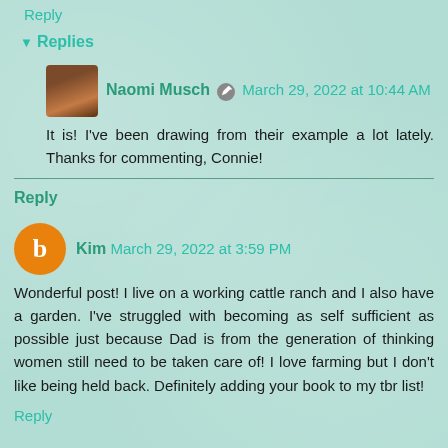Reply
▼ Replies
Naomi Musch [edit icon] March 29, 2022 at 10:44 AM
It is! I've been drawing from their example a lot lately. Thanks for commenting, Connie!
Reply
Kim March 29, 2022 at 3:59 PM
Wonderful post! I live on a working cattle ranch and I also have a garden. I've struggled with becoming as self sufficient as possible just because Dad is from the generation of thinking women still need to be taken care of! I love farming but I don't like being held back. Definitely adding your book to my tbr list!
Reply